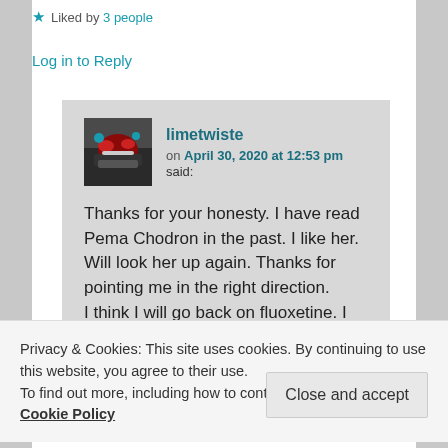★ Liked by 3 people
Log in to Reply
limetwiste on April 30, 2020 at 12:53 pm said:
Thanks for your honesty. I have read Pema Chodron in the past. I like her. Will look her up again. Thanks for pointing me in the right direction.
I think I will go back on fluoxetine. I don't know what miracle I expected this morning. Situation: no change.
Privacy & Cookies: This site uses cookies. By continuing to use this website, you agree to their use.
To find out more, including how to control cookies, see here: Cookie Policy
Close and accept